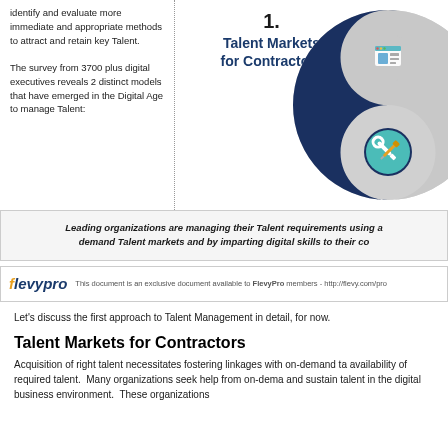identify and evaluate more immediate and appropriate methods to attract and retain key Talent.

The survey from 3700 plus digital executives reveals 2 distinct models that have emerged in the Digital Age to manage Talent:
[Figure (infographic): Yin-yang style circular diagram with number 1 and title 'Talent Markets for Contractors'. The circle contains two icons: a browser/webpage icon in the lighter half and a tools/wrench-screwdriver icon in the darker navy half, representing digital talent markets.]
Leading organizations are managing their Talent requirements using a demand Talent markets and by imparting digital skills to their co
This document is an exclusive document available to FlevyPro members - http://flevy.com/pro
Let’s discuss the first approach to Talent Management in detail, for now.
Talent Markets for Contractors
Acquisition of right talent necessitates fostering linkages with on-demand ta availability of required talent. Many organizations seek help from on-dema and sustain talent in the digital business environment. These organizations